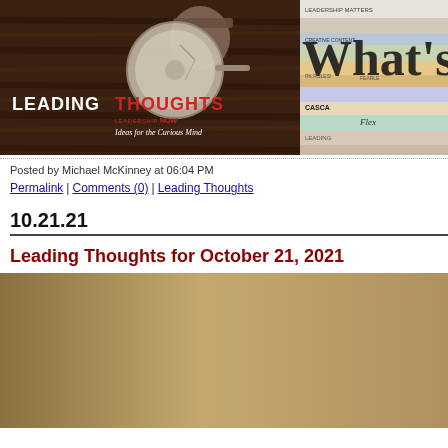[Figure (illustration): Left banner: Leading Thoughts logo with a man holding a large ear trumpet device against a wooden background. Text reads LEADING THOUGHTS LEADERSHIPNOW Ideas for the Curious Mind]
[Figure (illustration): Right banner: Stack of books with text 'What's' partially visible]
Posted by Michael McKinney at 06:04 PM
Permalink | Comments (0) | Leading Thoughts
10.21.21
Leading Thoughts for October 21, 2021
[Figure (photo): Sepia-toned vintage photo of a woman in thoughtful pose, hand on chin, wearing a sleeveless blouse]